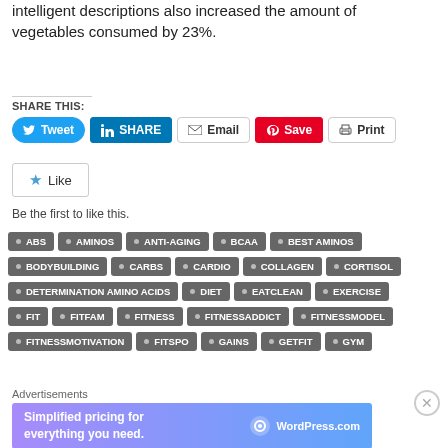intelligent descriptions also increased the amount of vegetables consumed by 23%.
SHARE THIS:
[Figure (screenshot): Social share buttons: Tweet, SHARE (LinkedIn), Email, Save (Pinterest), Print]
[Figure (screenshot): Like button widget with star icon and 'Be the first to like this.' text]
Be the first to like this.
ABS
AMINOS
ANTI-AGING
BCAA
BEST AMINOS
BODYBUILDING
CARBS
CARDIO
COLLAGEN
CORTISOL
DETERMINATION AMINO ACIDS
DIET
EATCLEAN
EXERCISE
FIT
FITFAM
FITNESS
FITNESSADDICT
FITNESSMODEL
FITNESSMOTIVATION
FITSPO
GAINS
GETFIT
GYM
Advertisements
[Figure (screenshot): WordPress.com advertisement banner with text 'Simplified pricing for everything you need.']